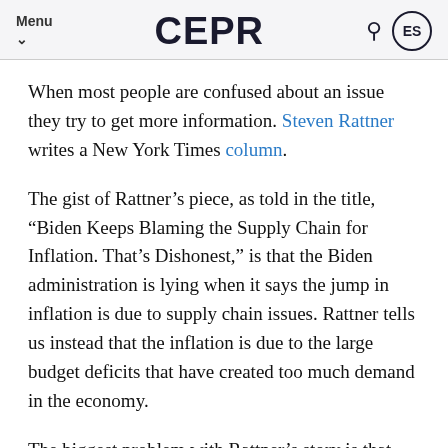Menu CEPR ES
When most people are confused about an issue they try to get more information. Steven Rattner writes a New York Times column.
The gist of Rattner’s piece, as told in the title, “Biden Keeps Blaming the Supply Chain for Inflation. That’s Dishonest,” is that the Biden administration is lying when it says the jump in inflation is due to supply chain issues. Rattner tells us instead that the inflation is due to the large budget deficits that have created too much demand in the economy.
The biggest problem with Rattner’s story is that there has been a large jump in inflation rates in other wealthy countries as well, most of which did